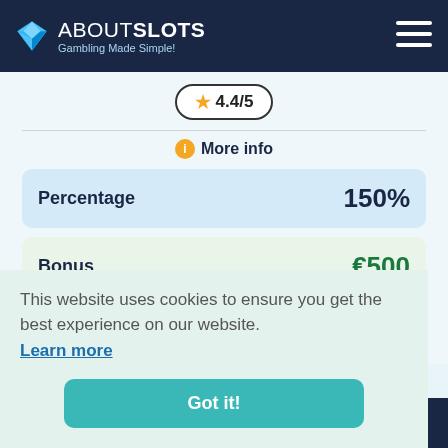ABOUTSLOTS - Gambling Made Simple!
★ 4.4/5
ℹ More info
| Field | Value |
| --- | --- |
| Percentage | 150% |
| Bonus | €500 |
| Wager | 35x |
This website uses cookies to ensure you get the best experience on our website.
Learn more
Got it!
[Figure (logo): iLucki casino logo at the bottom]